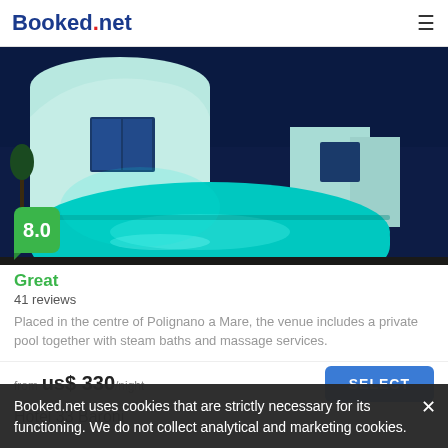Booked.net
[Figure (photo): Night photo of a white Mediterranean-style hotel building with illuminated turquoise swimming pool in the foreground, dark blue sky background.]
8.0
Great
41 reviews
Placed in the centre of Polignano a Mare, the venue includes a private pool together with steam baths and massage services.
from us$ 330 /night
SELECT
Booked.net uses cookies that are strictly necessary for its functioning. We do not collect analytical and marketing cookies.
Hotel 33 Baroni